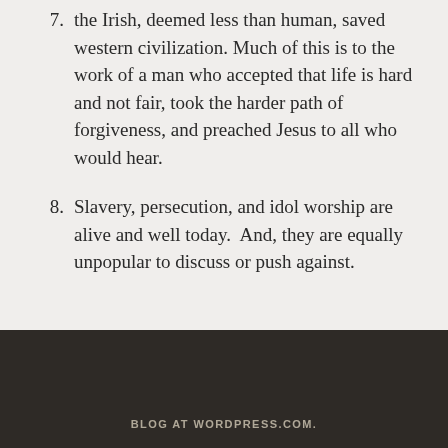7. the Irish, deemed less than human, saved western civilization. Much of this is to the work of a man who accepted that life is hard and not fair, took the harder path of forgiveness, and preached Jesus to all who would hear.
8. Slavery, persecution, and idol worship are alive and well today.  And, they are equally unpopular to discuss or push against.
BLOG AT WORDPRESS.COM.